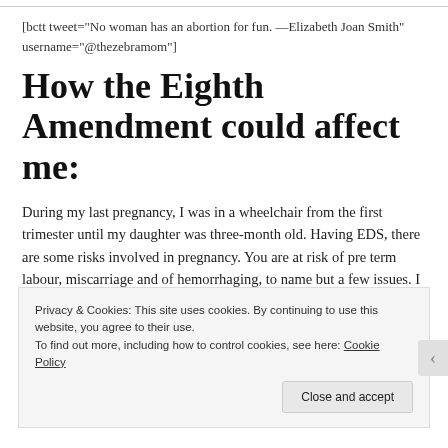[bctt tweet="No woman has an abortion for fun. —Elizabeth Joan Smith" username="@thezebramom"]
How the Eighth Amendment could affect me:
During my last pregnancy, I was in a wheelchair from the first trimester until my daughter was three-month old. Having EDS, there are some risks involved in pregnancy. You are at risk of pre term labour, miscarriage and of hemorrhaging, to name but a few issues. I
Privacy & Cookies: This site uses cookies. By continuing to use this website, you agree to their use.
To find out more, including how to control cookies, see here: Cookie Policy
Close and accept